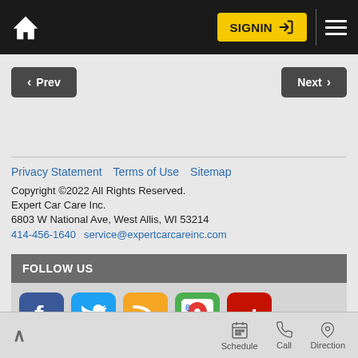SIGNIN | Home | Menu
< Prev | Next >
Privacy Statement   Terms of Use   Sitemap
Copyright ©2022 All Rights Reserved.
Expert Car Care Inc.
6803 W National Ave, West Allis, WI 53214
414-456-1640  service@expertcarcareinc.com
FOLLOW US
[Figure (infographic): Social media icons: Facebook, Twitter, RSS feed, Google Maps, Yelp]
^ | Schedule | Call | Direction